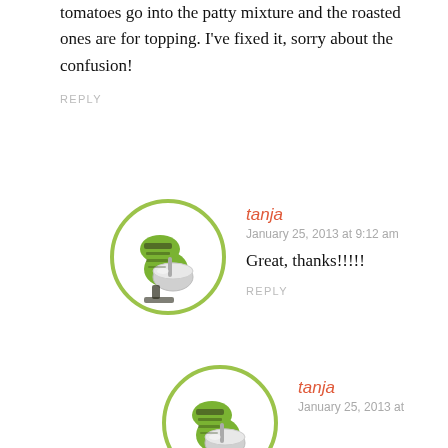tomatoes go into the patty mixture and the roasted ones are for topping. I've fixed it, sorry about the confusion!
REPLY
[Figure (illustration): Circular avatar with green border containing an illustration of a green KitchenAid stand mixer]
tanja
January 25, 2013 at 9:12 am
Great, thanks!!!!!
REPLY
[Figure (illustration): Circular avatar with green border containing an illustration of a green KitchenAid stand mixer (partially visible)]
tanja
January 25, 2013 at